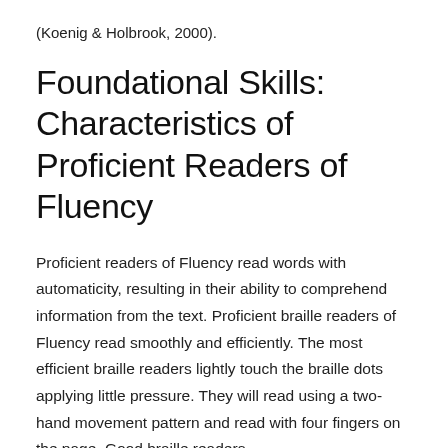(Koenig & Holbrook, 2000).
Foundational Skills: Characteristics of Proficient Readers of Fluency
Proficient readers of Fluency read words with automaticity, resulting in their ability to comprehend information from the text. Proficient braille readers of Fluency read smoothly and efficiently. The most efficient braille readers lightly touch the braille dots applying little pressure. They will read using a two-hand movement pattern and read with four fingers on the page. Good braille readers